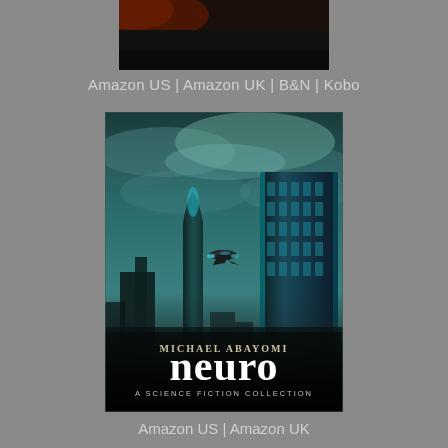[Figure (illustration): Top portion of a sci-fi book cover showing author name MICHAEL ABAYOMI on dark background]
Amazon US | Amazon UK | B&N | Kobo
[Figure (illustration): Book cover for 'neuro: A Science Fiction Collection' by Michael Abayomi. Shows futuristic cityscape with tall skyscrapers, dramatic cloudy teal sky, a flying vehicle/aircraft between the buildings. Author name at bottom reads MICHAEL ABAYOMI, large title 'neuro', subtitle 'A SCIENCE FICTION COLLECTION'.]
Amazon US | Amazon UK